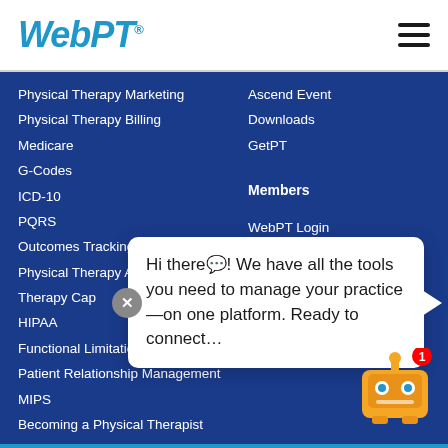WebPT
Physical Therapy Marketing
Physical Therapy Billing
Medicare
G-Codes
ICD-10
PQRS
Outcomes Tracking
Physical Therapy Apps
Therapy Cap
HIPAA
Functional Limitation Reporting
Patient Relationship Management
MIPS
Becoming a Physical Therapist
Home Exercise Pro
Ascend Event
Downloads
GetPT
Members
WebPT Login
Contact Support
Hi there💬! We have all the tools you need to manage your practice—on one platform. Ready to connect…